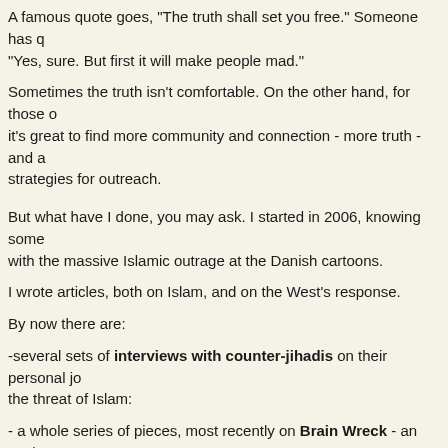A famous quote goes, "The truth shall set you free." Someone has quipped, "Yes, sure. But first it will make people mad."
Sometimes the truth isn't comfortable. On the other hand, for those of us, it's great to find more community and connection - more truth - and a strategies for outreach.
But what have I done, you may ask. I started in 2006, knowing some with the massive Islamic outrage at the Danish cartoons.
I wrote articles, both on Islam, and on the West's response.
By now there are:
-several sets of interviews with counter-jihadis on their personal jo the threat of Islam:
- a whole series of pieces, most recently on Brain Wreck - an explor happened inside the heads of the politically correct
- and even music pieces, such as Too Many Heads Off and a tribute Christian pastor, ex Muslim, acid burned:
My invitation to you, come and join in this ongoing exploration of sec secret information: